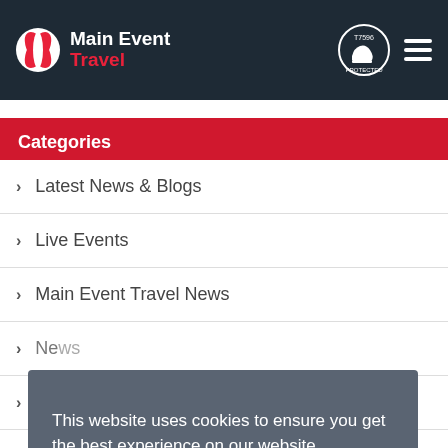Main Event Travel
Categories
Latest News & Blogs
Live Events
Main Event Travel News
News
GUKPT
WSOP
Blogs
Travel Tips
This website uses cookies to ensure you get the best experience on our website. Learn more Got it!